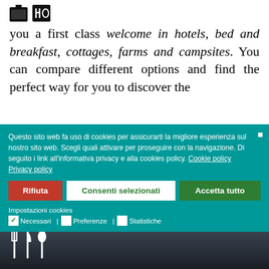you a first class welcome in hotels, bed and breakfast, cottages, farms and campsites. You can compare different options and find the perfect way for you to discover the
Questo sito web fa uso di cookies per assicurarti la migliore esperienza sul nostro sito web. Scegli quali attivare per proseguire con la navigazione. Di seguito i link all'informativa privacy e alla cookies policy. Cookie policy   Privacy policy
Rifiuta | Consenti selezionati | Accetta tutto
Impostazioni cookies
☑ Necessari | ☐ Preferenze | ☐ Statistiche
WHERE
TO SLEEP
[Figure (screenshot): Dark cloudy sky background image with a cutlery icon (fork, knife, spoon) in white at the bottom left]